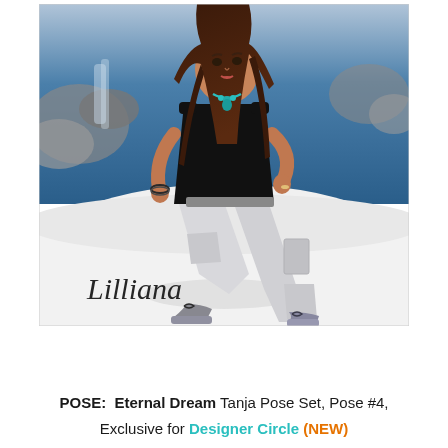[Figure (photo): A 3D rendered avatar of a woman named Lilliana in a virtual environment. She has long dark brown hair, wearing a black sleeveless top with a keyhole cutout, white cargo pants, and dark ankle boots with chain details. She is posed in a dynamic stance with legs spread apart. She wears a teal necklace. Behind her is a snowy white ground and blue water with rocks. The name 'Lilliana' is written in cursive script in the lower left of the image.]
POSE:  Eternal Dream Tanja Pose Set, Pose #4, Exclusive for Designer Circle (NEW)